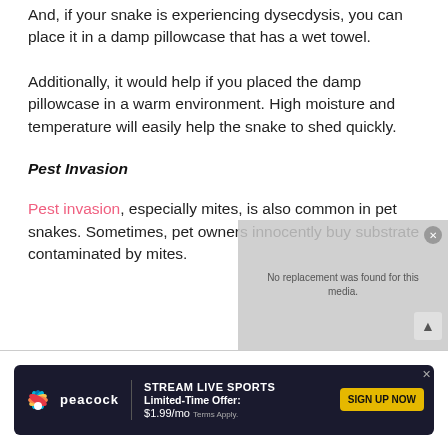And, if your snake is experiencing dysecdysis, you can place it in a damp pillowcase that has a wet towel.
Additionally, it would help if you placed the damp pillowcase in a warm environment. High moisture and temperature will easily help the snake to shed quickly.
Pest Invasion
Pest invasion, especially mites, is also common in pet snakes. Sometimes, pet owners innocently buy substrate contaminated by mites.